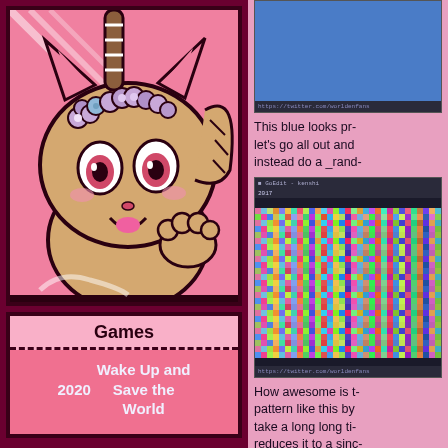[Figure (illustration): Cartoon cat-like creature with a flower crown, pink background, bold outlines, anime style illustration]
| Games |
| --- |
| 2020 | Wake Up and
Save the
World |
[Figure (screenshot): Screenshot showing a blue rectangle with a browser URL bar showing https://twitter.com/worldenfans]
This blue looks pr- let's go all out and instead do a _rand-
[Figure (screenshot): Screenshot of a terminal or program window showing a colorful random pixel noise pattern with title bar GoEdit-kenshi and label 2017, URL bar https://twitter.com/worldenfans]
How awesome is t- pattern like this by take a long long ti- reduces it to a sinc-